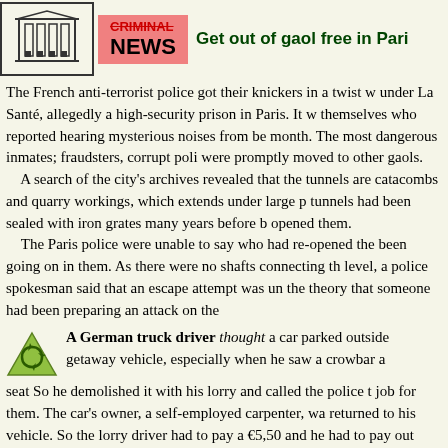CRIMINAL NEWS — Get out of gaol free in Paris
The French anti-terrorist police got their knickers in a twist when tunnels were discovered under La Santé, allegedly a high-security prison in Paris. It was the guards themselves who reported hearing mysterious noises from beneath the cells last month. The most dangerous inmates; fraudsters, corrupt police officers etc were promptly moved to other gaols. A search of the city's archives revealed that the tunnels are part of the catacombs and quarry workings, which extends under large parts of the city. The tunnels had been sealed with iron grates many years before but someone had re-opened them. The Paris police were unable to say who had re-opened the tunnels or what had been going on in them. As there were no shafts connecting the tunnels to the prison level, a police spokesman said that an escape attempt was unlikely but did not rule out the theory that someone had been preparing an attack on the prison.
A German truck driver thought a car parked outside a bank was a getaway vehicle, especially when he saw a crowbar and a balaclava on the back seat So he demolished it with his lorry and called the police to tell them he had done a job for them. The car's owner, a self-employed carpenter, was not amused when he returned to his vehicle. So the lorry driver had to pay a €5,500 fine for damage and he had to pay out more cash to get his lorry repaired.